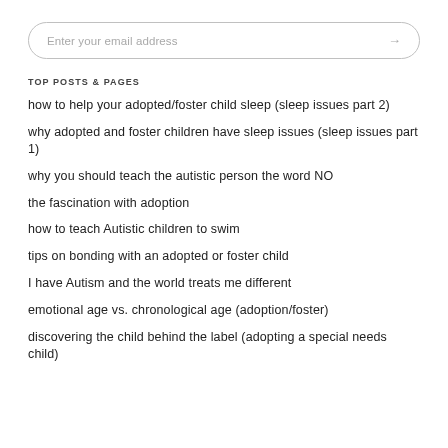[Figure (other): Search input field with placeholder text 'Enter your email address' and an arrow icon on the right]
TOP POSTS & PAGES
how to help your adopted/foster child sleep (sleep issues part 2)
why adopted and foster children have sleep issues (sleep issues part 1)
why you should teach the autistic person the word NO
the fascination with adoption
how to teach Autistic children to swim
tips on bonding with an adopted or foster child
I have Autism and the world treats me different
emotional age vs. chronological age (adoption/foster)
discovering the child behind the label (adopting a special needs child)